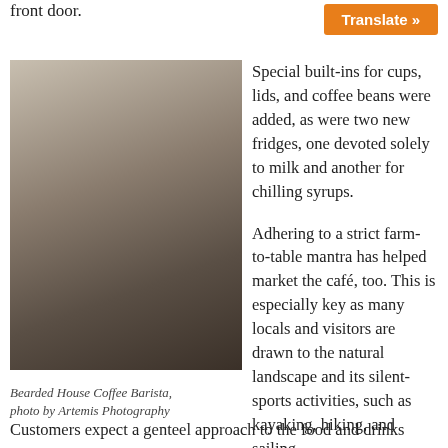front door.
Translate »
[Figure (photo): Bearded male barista at an espresso machine in a coffee shop, steaming milk.]
Bearded House Coffee Barista, photo by Artemis Photography
Special built-ins for cups, lids, and coffee beans were added, as were two new fridges, one devoted solely to milk and another for chilling syrups.
Adhering to a strict farm-to-table mantra has helped market the café, too. This is especially key as many locals and visitors are drawn to the natural landscape and its silent-sports activities, such as kayaking, hiking, and sailing.
Customers expect a genteel approach to the food and drinks